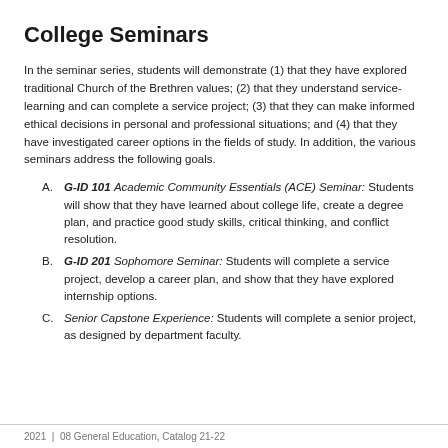College Seminars
In the seminar series, students will demonstrate (1) that they have explored traditional Church of the Brethren values; (2) that they understand service-learning and can complete a service project; (3) that they can make informed ethical decisions in personal and professional situations; and (4) that they have investigated career options in the fields of study. In addition, the various seminars address the following goals.
A. G-ID 101 Academic Community Essentials (ACE) Seminar: Students will show that they have learned about college life, create a degree plan, and practice good study skills, critical thinking, and conflict resolution.
B. G-ID 201 Sophomore Seminar: Students will complete a service project, develop a career plan, and show that they have explored internship options.
C. Senior Capstone Experience: Students will complete a senior project, as designed by department faculty.
2021  |  08 General Education, Catalog 21-22